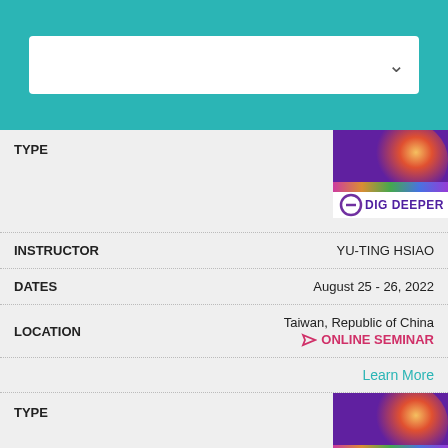[Figure (screenshot): Search bar with dropdown arrow on teal background]
TYPE
[Figure (illustration): Dig Deeper badge with globe/brain image]
INSTRUCTOR   YU-TING HSIAO
DATES   August 25 - 26, 2022
LOCATION   Taiwan, Republic of China   ONLINE SEMINAR
Learn More
TYPE
[Figure (illustration): Dig Deeper badge with globe/brain image (second)]
Privacy & Terms of Service
By using this site, you agree to the Privacy Policy and Terms of Service.